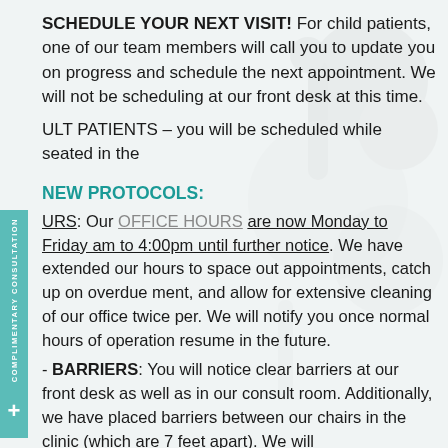SCHEDULE YOUR NEXT VISIT! For child patients, one of our team members will call you to update you on progress and schedule the next appointment. We will not be scheduling at our front desk at this time.
ULT PATIENTS – you will be scheduled while seated in the
NEW PROTOCOLS:
URS: Our OFFICE HOURS are now Monday to Friday am to 4:00pm until further notice. We have extended our hours to space out appointments, catch up on overdue ment, and allow for extensive cleaning of our office twice per. We will notify you once normal hours of operation resume in the future.
- BARRIERS: You will notice clear barriers at our front desk as well as in our consult room. Additionally, we have placed barriers between our chairs in the clinic (which are 7 feet apart). We will